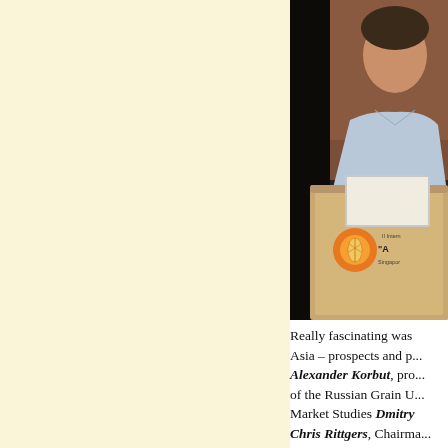[Figure (photo): A person in a light blue shirt standing at a wooden podium with a laptop. On the podium front is a circular logo with a wheat/grain design and text reading 'II Intern... A... Singapor...' suggesting an international grain/agriculture conference in Singapore.]
Really fascinating was ... Asia – prospects and p... Alexander Korbut, pro... of the Russian Grain U... Market Studies Dmitry ... Chris Rittgers, Chairma... A... I... d... i...